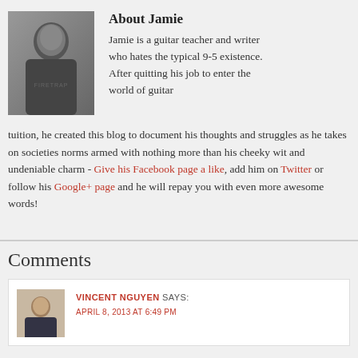[Figure (photo): Black and white photo of Jamie, a man in a dark t-shirt]
About Jamie
Jamie is a guitar teacher and writer who hates the typical 9-5 existence. After quitting his job to enter the world of guitar tuition, he created this blog to document his thoughts and struggles as he takes on societies norms armed with nothing more than his cheeky wit and undeniable charm - Give his Facebook page a like, add him on Twitter or follow his Google+ page and he will repay you with even more awesome words!
Comments
[Figure (photo): Small profile photo of Vincent Nguyen, a man in a suit]
VINCENT NGUYEN SAYS:
APRIL 8, 2013 AT 6:49 PM